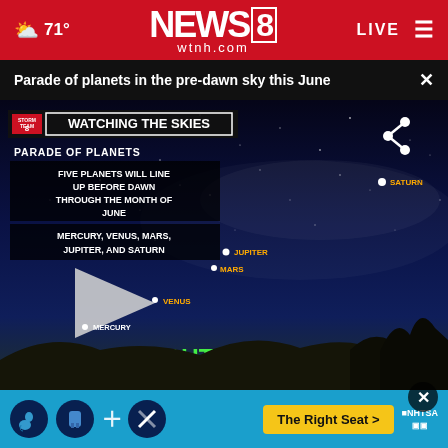71° NEWS 8 wtnh.com LIVE ≡
Parade of planets in the pre-dawn sky this June ×
[Figure (screenshot): News8 WTNH 'Watching the Skies' video thumbnail showing a night sky with five planets labeled: Mercury, Venus, Mars, Jupiter, and Saturn aligned in the pre-dawn southeastern sky. Overlay text reads: PARADE OF PLANETS / FIVE PLANETS WILL LINE UP BEFORE DAWN THROUGH THE MONTH OF JUNE / MERCURY, VENUS, MARS, JUPITER, AND SATURN. A play button is visible and 'SOUTH EAST' is labeled in green.]
stable condition
after falling into fire p...